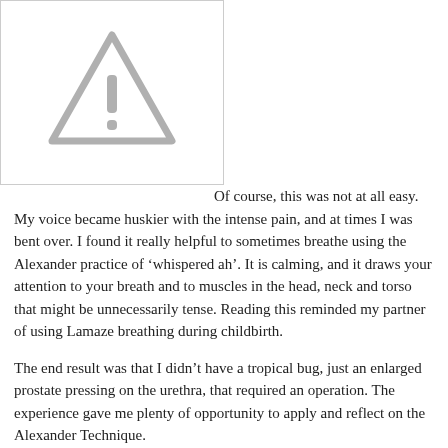[Figure (illustration): A warning triangle icon with an exclamation mark, rendered in light grey, inside a white box with a thin border on the left half of the page.]
Of course, this was not at all easy. My voice became huskier with the intense pain, and at times I was bent over. I found it really helpful to sometimes breathe using the Alexander practice of ‘whispered ah’. It is calming, and it draws your attention to your breath and to muscles in the head, neck and torso that might be unnecessarily tense. Reading this reminded my partner of using Lamaze breathing during childbirth.
The end result was that I didn’t have a tropical bug, just an enlarged prostate pressing on the urethra, that required an operation. The experience gave me plenty of opportunity to apply and reflect on the Alexander Technique.
Caveat